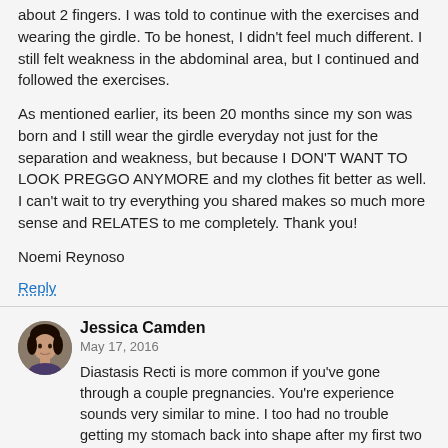about 2 fingers. I was told to continue with the exercises and wearing the girdle. To be honest, I didn't feel much different. I still felt weakness in the abdominal area, but I continued and followed the exercises.
As mentioned earlier, its been 20 months since my son was born and I still wear the girdle everyday not just for the separation and weakness, but because I DON'T WANT TO LOOK PREGGO ANYMORE and my clothes fit better as well. I can't wait to try everything you shared makes so much more sense and RELATES to me completely. Thank you!
Noemi Reynoso
Reply
Jessica Camden
May 17, 2016
Diastasis Recti is more common if you've gone through a couple pregnancies. You're experience sounds very similar to mine. I too had no trouble getting my stomach back into shape after my first two kids, but with my third, every exercise program I did seemed to make it worse. It took a couple